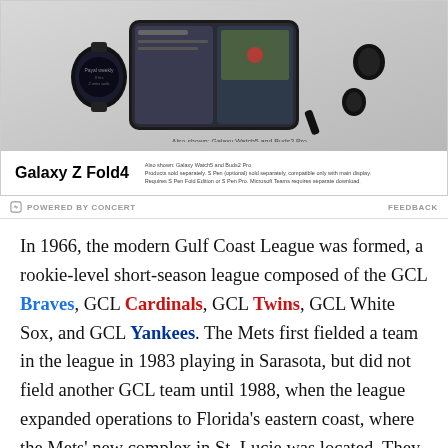[Figure (photo): Samsung Galaxy Z Fold4 advertisement showing the foldable phone alongside Galaxy Watch5 and Buds2 Pro. Bottom bar shows product name 'Galaxy Z Fold4' and legal disclaimer text about accessories sold separately.]
POWERED BY CONCERT   FEEDBACK
In 1966, the modern Gulf Coast League was formed, a rookie-level short-season league composed of the GCL Braves, GCL Cardinals, GCL Twins, GCL White Sox, and GCL Yankees. The Mets first fielded a team in the league in 1983 playing in Sarasota, but did not field another GCL team until 1988, when the league expanded operations to Florida's eastern coast, where the Mets' new complex in St. Lucie was located. They have consistently fielded a team since then, with gaps from 2000-2003 and 2012.
Attendance in the GCL is generally limited to scouts